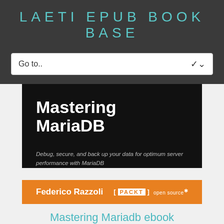LAETI EPUB BOOK BASE
[Figure (screenshot): Book cover for 'Mastering MariaDB' by Federico Razzoli, published by PACKT open source. Black background with white bold title text, subtitle 'Debug, secure, and back up your data for optimum server performance with MariaDB', orange bottom bar with author name and PACKT logo.]
Mastering Mariadb ebook
First of all, let me say this is not a beginner's book. Some knowledge (deep knowledge I would say f...